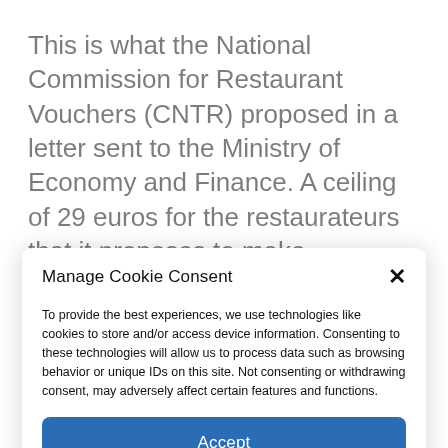This is what the National Commission for Restaurant Vouchers (CNTR) proposed in a letter sent to the Ministry of Economy and Finance. A ceiling of 29 euros for the restaurateurs that it proposes to make sustainable. “Bercy tells us that the question
Manage Cookie Consent
To provide the best experiences, we use technologies like cookies to store and/or access device information. Consenting to these technologies will allow us to process data such as browsing behavior or unique IDs on this site. Not consenting or withdrawing consent, may adversely affect certain features and functions.
Accept
Cookie Policy